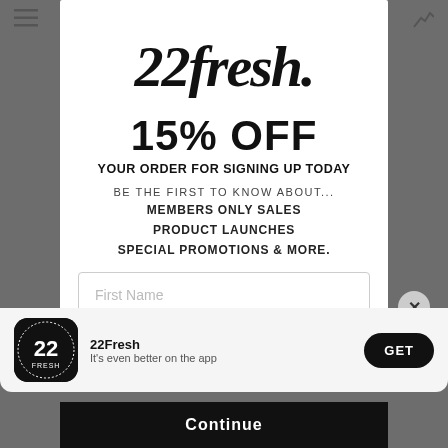[Figure (screenshot): 22Fresh brand logo in stylized script/handwritten font]
15% OFF
YOUR ORDER FOR SIGNING UP TODAY
BE THE FIRST TO KNOW ABOUT...
MEMBERS ONLY SALES
PRODUCT LAUNCHES
SPECIAL PROMOTIONS & MORE.
First Name
22Fresh
It's even better on the app
Continue